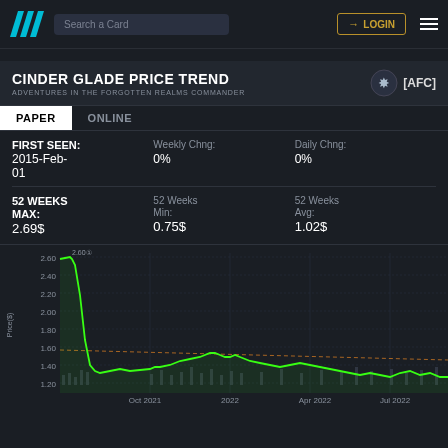Search a Card | LOGIN
CINDER GLADE PRICE TREND
ADVENTURES IN THE FORGOTTEN REALMS COMMANDER [AFC]
PAPER | ONLINE
| FIRST SEEN: | Weekly Chng: | Daily Chng: |
| --- | --- | --- |
| 2015-Feb-01 | 0% | 0% |
| 52 WEEKS MAX: | 52 Weeks Min: | 52 Weeks Avg: |
| --- | --- | --- |
| 2.69$ | 0.75$ | 1.02$ |
[Figure (line-chart): Line chart showing price trend from ~2.60 peak in late 2021 dropping sharply then recovering to around 1.20 in early 2022, then declining to 0.80-1.10 range through Jul 2022. Green line is price, dashed red/orange is average. Grey bars are volume.]